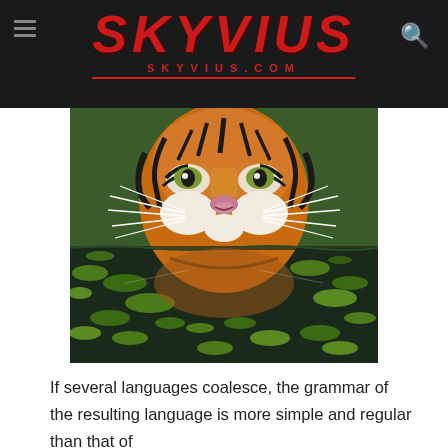SKYVIUS / skyvius.com
[Figure (photo): Close-up photograph of a tiger's face partially submerged in water filled with green duckweed, with reflection visible on the water surface.]
If several languages coalesce, the grammar of the resulting language is more simple and regular than that of